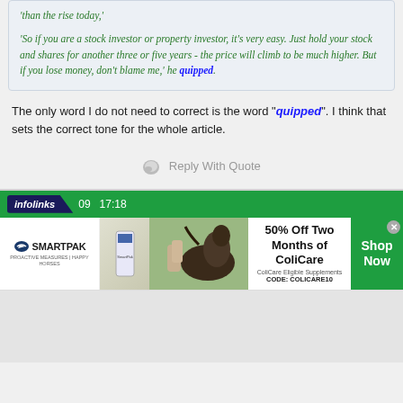'So if you are a stock investor or property investor, it's very easy. Just hold your stock and shares for another three or five years - the price will climb to be much higher. But if you lose money, don't blame me,' he quipped.
The only word I do not need to correct is the word "quipped". I think that sets the correct tone for the whole article.
Reply With Quote
[Figure (screenshot): SmartPak advertisement banner: 50% Off Two Months of ColiCare, ColiCare Eligible Supplements, CODE: COLICARE10, Shop Now button]